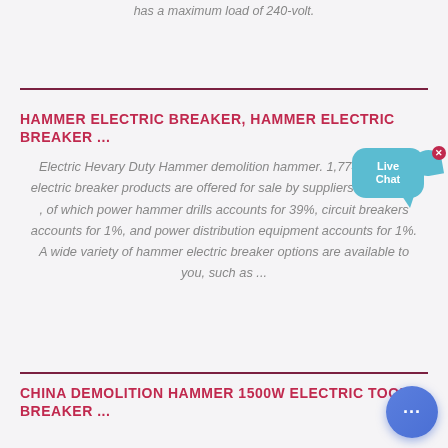has a maximum load of 240-volt.
HAMMER ELECTRIC BREAKER, HAMMER ELECTRIC BREAKER ...
Electric Hevary Duty Hammer demolition hammer. 1,774 hammer electric breaker products are offered for sale by suppliers on Alibaba , of which power hammer drills accounts for 39%, circuit breakers accounts for 1%, and power distribution equipment accounts for 1%. A wide variety of hammer electric breaker options are available to you, such as ...
CHINA DEMOLITION HAMMER 1500W ELECTRIC TOOL BREAKER ...